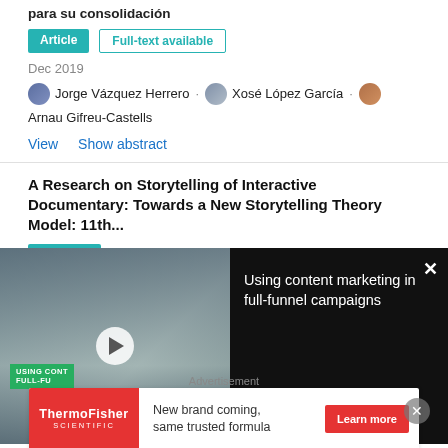para su consolidación
Article  Full-text available
Dec 2019
Jorge Vázquez Herrero · Xosé López García · Arnau Gifreu-Castells
View   Show abstract
A Research on Storytelling of Interactive Documentary: Towards a New Storytelling Theory Model: 11th...
Chapter
[Figure (other): Video advertisement overlay: 'Using content marketing in full-funnel campaigns' with play button and video thumbnail showing people working at desks]
Master Thesis: Documenting about Lapseki in Asia Minor and New Lampsakos village in Greece in order to develop...
Advertisement
ThermoFisher Scientific — New brand coming, same trusted formula — Learn more